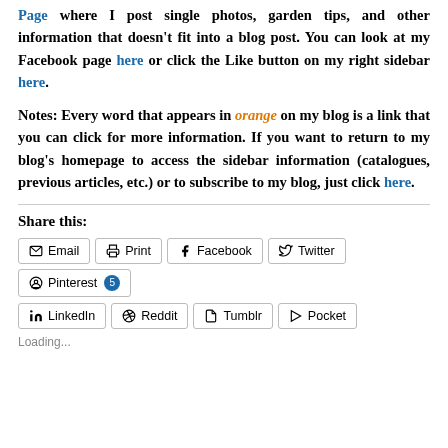Page where I post single photos, garden tips, and other information that doesn't fit into a blog post. You can look at my Facebook page here or click the Like button on my right sidebar here.
Notes: Every word that appears in orange on my blog is a link that you can click for more information. If you want to return to my blog's homepage to access the sidebar information (catalogues, previous articles, etc.) or to subscribe to my blog, just click here.
Share this:
Email  Print  Facebook  Twitter  Pinterest 5  LinkedIn  Reddit  Tumblr  Pocket
Loading...